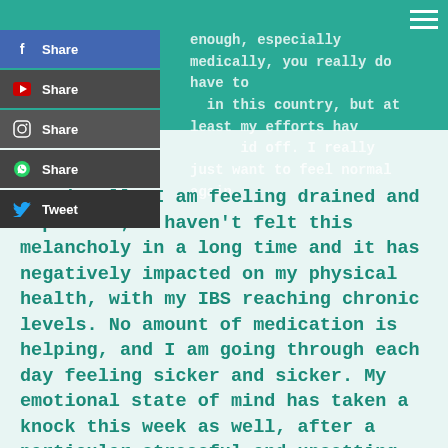enough, especially medically, you really do have to [fight] in this country, but at least my efforts have paid off. I really just want to feel normal again.
[Figure (screenshot): Social media share buttons panel showing Facebook Share, YouTube Share, Instagram Share, WhatsApp Share, and Twitter Tweet buttons]
Emotionally I am feeling drained and depressed; I haven't felt this melancholy in a long time and it has negatively impacted on my physical health, with my IBS reaching chronic levels. No amount of medication is helping, and I am going through each day feeling sicker and sicker. My emotional state of mind has taken a knock this week as well, after a particular stressful and upsetting conversation, centred around my choices in life, which haven't always been the best. However, they were my preferences to make and not up for negotiation with anyone else.